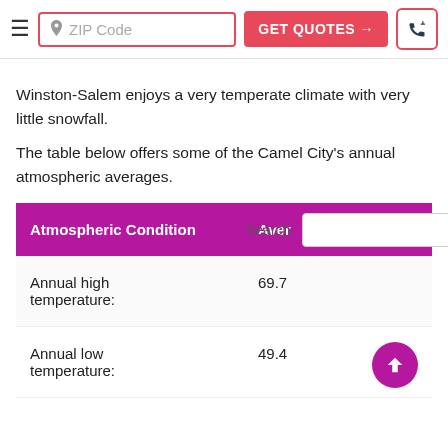ZIP Code | GET QUOTES →
Winston-Salem enjoys a very temperate climate with very little snowfall.
The table below offers some of the Camel City's annual atmospheric averages.
| Atmospheric Condition | Average |
| --- | --- |
| Annual high temperature: | 69.7 |
| Annual low temperature: | 49.4 |